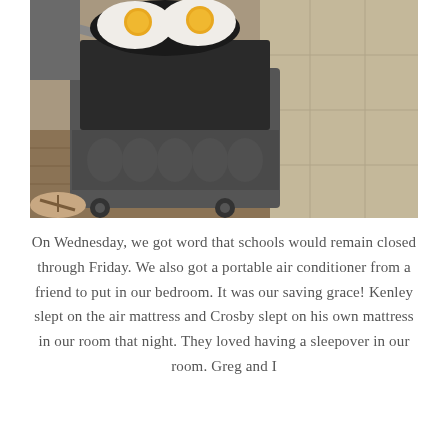[Figure (photo): Overhead view of two fried eggs cooking in a dark frying pan on a portable camp stove, which sits on wheels. The stove is on a mixed surface of wood planks and tile flooring. A person's feet wearing sandals are visible at the lower left.]
On Wednesday, we got word that schools would remain closed through Friday. We also got a portable air conditioner from a friend to put in our bedroom. It was our saving grace! Kenley slept on the air mattress and Crosby slept on his own mattress in our room that night. They loved having a sleepover in our room. Greg and I